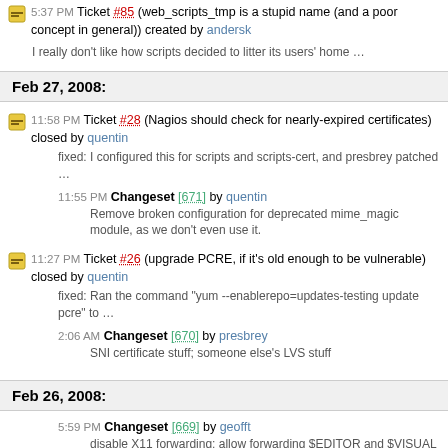5:37 PM Ticket #85 (web_scripts_tmp is a stupid name (and a poor concept in general)) created by andersk
I really don't like how scripts decided to litter its users' home …
Feb 27, 2008:
11:58 PM Ticket #28 (Nagios should check for nearly-expired certificates) closed by quentin
fixed: I configured this for scripts and scripts-cert, and presbrey patched …
11:55 PM Changeset [671] by quentin
Remove broken configuration for deprecated mime_magic module, as we don't even use it.
11:27 PM Ticket #26 (upgrade PCRE, if it's old enough to be vulnerable) closed by quentin
fixed: Ran the command "yum --enablerepo=updates-testing update pcre" to …
2:06 AM Changeset [670] by presbrey
SNI certificate stuff; someone else's LVS stuff
Feb 26, 2008:
5:59 PM Changeset [669] by geofft
disable X11 forwarding; allow forwarding $EDITOR and $VISUAL because emacs annoys me...